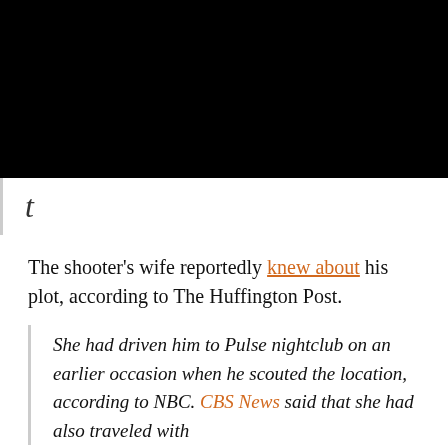[Figure (photo): Black rectangle representing a video or image placeholder at the top of the page]
[Figure (logo): New York Times stylized 'T' logo]
The shooter's wife reportedly knew about his plot, according to The Huffington Post.
She had driven him to Pulse nightclub on an earlier occasion when he scouted the location, according to NBC. CBS News said that she had also traveled with